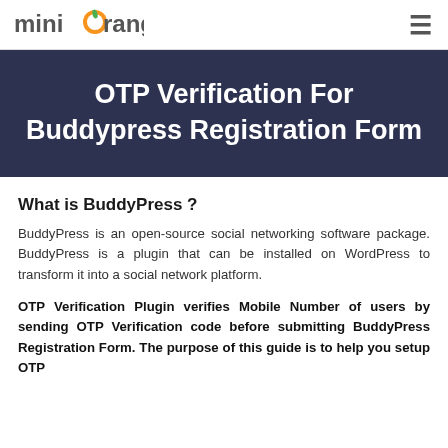miniOrange [hamburger menu]
OTP Verification For Buddypress Registration Form
What is BuddyPress ?
BuddyPress is an open-source social networking software package. BuddyPress is a plugin that can be installed on WordPress to transform it into a social network platform.
OTP Verification Plugin verifies Mobile Number of users by sending OTP Verification code before submitting BuddyPress Registration Form. The purpose of this guide is to help you setup OTP